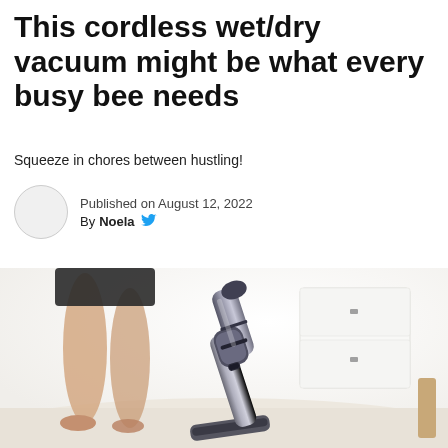This cordless wet/dry vacuum might be what every busy bee needs
Squeeze in chores between hustling!
Published on August 12, 2022
By Noela
[Figure (photo): A cordless wet/dry vacuum cleaner leaning at an angle on a light-colored floor, with a person's bare legs visible in the background near white furniture/cabinets.]